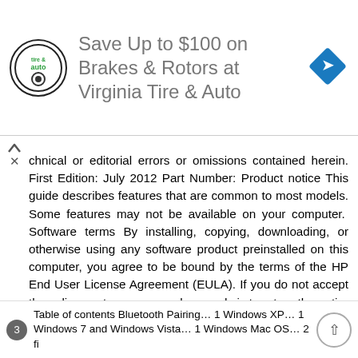[Figure (infographic): Advertisement banner: Virginia Tire & Auto logo on left, text 'Save Up to $100 on Brakes & Rotors at Virginia Tire & Auto', blue diamond turn-right icon on right]
chnical or editorial errors or omissions contained herein. First Edition: July 2012 Part Number: Product notice This guide describes features that are common to most models. Some features may not be available on your computer. Software terms By installing, copying, downloading, or otherwise using any software product preinstalled on this computer, you agree to be bound by the terms of the HP End User License Agreement (EULA). If you do not accept these license terms, your sole remedy is to return the entire unused product (hardware and software) within 14 days for a refund subject to the refund policy of your place of purchase. For any further information or to request a full refund of the computer, please contact your local point of sale (the seller).
Table of contents Bluetooth Pairing… 1 Windows XP… 1 Windows 7 and Windows Vista… 1 Windows Mac OS… 2 fi